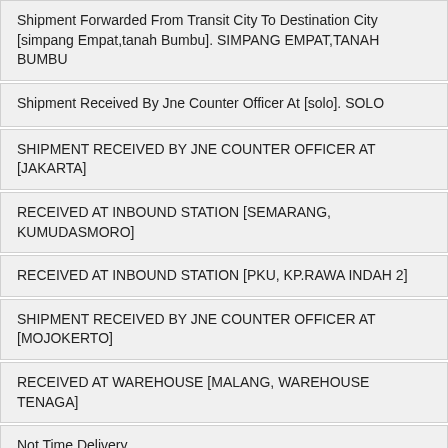Shipment Forwarded From Transit City To Destination City [simpang Empat,tanah Bumbu]. SIMPANG EMPAT,TANAH BUMBU
Shipment Received By Jne Counter Officer At [solo]. SOLO
SHIPMENT RECEIVED BY JNE COUNTER OFFICER AT [JAKARTA]
RECEIVED AT INBOUND STATION [SEMARANG, KUMUDASMORO]
RECEIVED AT INBOUND STATION [PKU, KP.RAWA INDAH 2]
SHIPMENT RECEIVED BY JNE COUNTER OFFICER AT [MOJOKERTO]
RECEIVED AT WAREHOUSE [MALANG, WAREHOUSE TENAGA]
Not Time Delivery